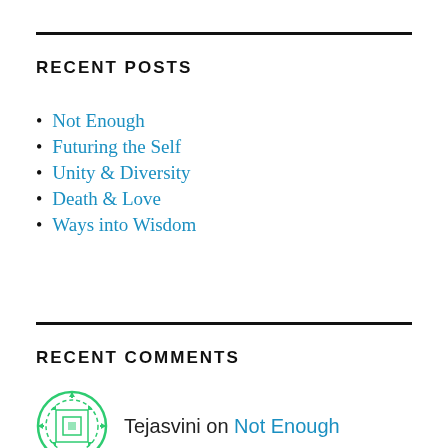RECENT POSTS
Not Enough
Futuring the Self
Unity & Diversity
Death & Love
Ways into Wisdom
RECENT COMMENTS
Tejasvini on Not Enough